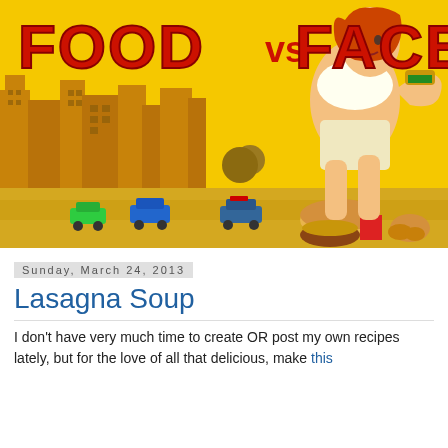[Figure (illustration): Comic-style illustration banner with yellow background showing a giant woman in white outfit holding food, standing over a city with cars. Bold red text reads FOOD vs FACE.]
Sunday, March 24, 2013
Lasagna Soup
I don't have very much time to create OR post my own recipes lately, but for the love of all that delicious, make this